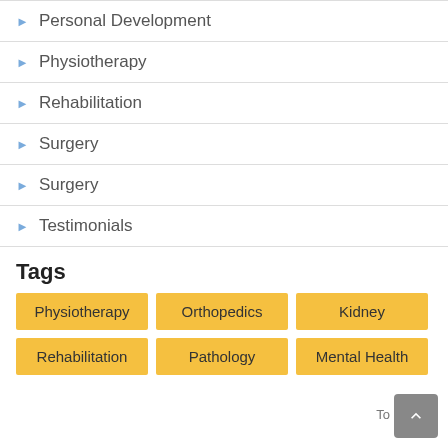Personal Development
Physiotherapy
Rehabilitation
Surgery
Surgery
Testimonials
Tags
Physiotherapy  Orthopedics  Kidney  Rehabilitation  Pathology  Mental Health